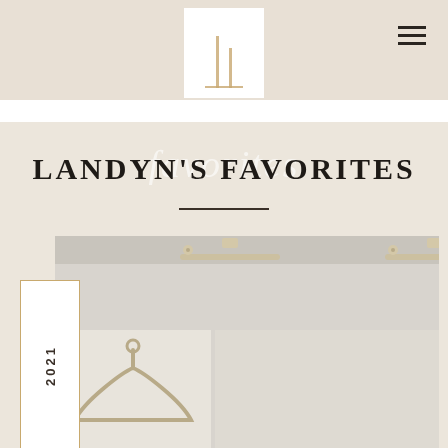[Figure (logo): Two vertical lines forming an 'L' shape logo in white box on beige header]
[Figure (other): Hamburger menu icon (three horizontal lines) in top right corner]
LANDYN'S FAVORITES
[Figure (photo): Interior design products including wall-mounted picture lights (brass/gold) and a decorative brass hanger/hook against a gray shelf background. Year label '2021' shown vertically on left sidebar.]